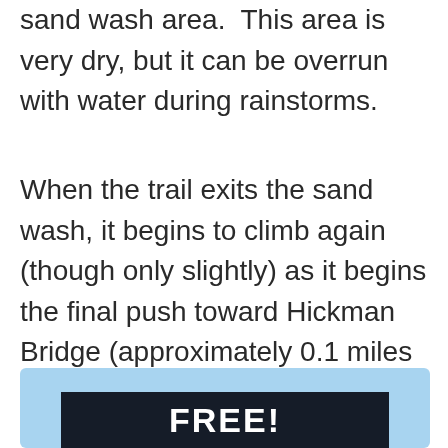sand wash area.  This area is very dry, but it can be overrun with water during rainstorms.
When the trail exits the sand wash, it begins to climb again (though only slightly) as it begins the final push toward Hickman Bridge (approximately 0.1 miles after leaving the sand wash).
[Figure (other): Partial view of a promotional image with a dark banner showing white bold text beginning with 'FREE' on a light blue background]